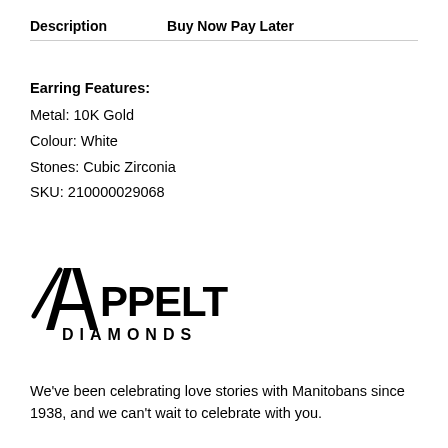Description    Buy Now Pay Later
Earring Features:
Metal: 10K Gold
Colour: White
Stones: Cubic Zirconia
SKU: 210000029068
[Figure (logo): Appelt's Diamonds logo — stylized A with script and bold DIAMONDS text]
We've been celebrating love stories with Manitobans since 1938, and we can't wait to celebrate with you.